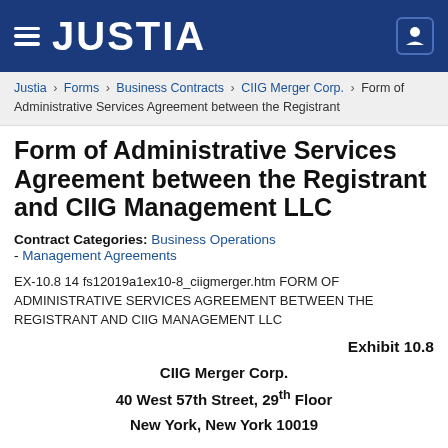JUSTIA
Justia › Forms › Business Contracts › CIIG Merger Corp. › Form of Administrative Services Agreement between the Registrant
Form of Administrative Services Agreement between the Registrant and CIIG Management LLC
Contract Categories: Business Operations - Management Agreements
EX-10.8 14 fs12019a1ex10-8_ciigmerger.htm FORM OF ADMINISTRATIVE SERVICES AGREEMENT BETWEEN THE REGISTRANT AND CIIG MANAGEMENT LLC
Exhibit 10.8
CIIG Merger Corp.
40 West 57th Street, 29th Floor
New York, New York 10019